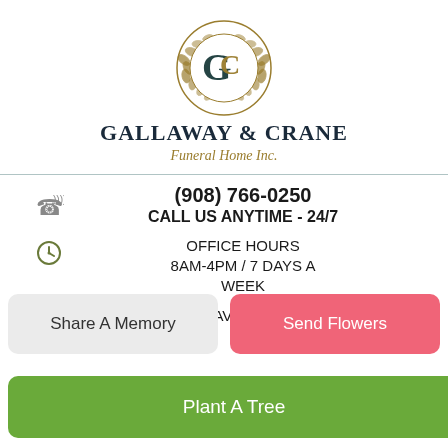[Figure (logo): Gallaway & Crane funeral home circular logo with stylized GC monogram and laurel wreath in gold and dark teal]
GALLAWAY & CRANE
Funeral Home Inc.
(908) 766-0250
CALL US ANYTIME - 24/7
OFFICE HOURS
8AM-4PM / 7 DAYS A WEEK
101 SOUTH FINLEY AVE.
Share A Memory
Send Flowers
Plant A Tree